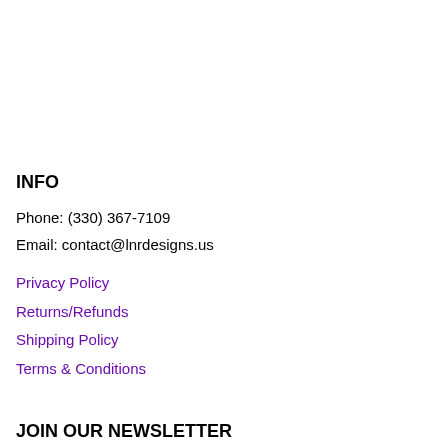INFO
Phone: (330) 367-7109
Email: contact@lnrdesigns.us
Privacy Policy
Returns/Refunds
Shipping Policy
Terms & Conditions
JOIN OUR NEWSLETTER